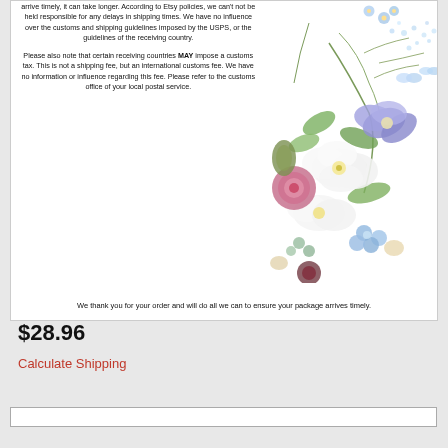[Figure (illustration): Decorative watercolor floral bouquet with white, purple, blue, and pink flowers, green leaves, baby's breath, and small blue butterflies in the upper-right corner of a white card.]
arrive timely, it can take longer. According to Etsy policies, we can't not be held responsible for any delays in shipping times. We have no influence over the customs and shipping guidelines imposed by the USPS, or the guidelines of the receiving country.
Please also note that certain receiving countries MAY impose a customs tax. This is not a shipping fee, but an international customs fee. We have no information or influence regarding this fee. Please refer to the customs office of your local postal service.
We thank you for your order and will do all we can to ensure your package arrives timely.
$28.96
Calculate Shipping